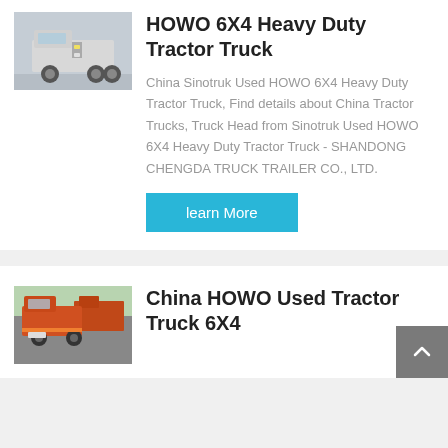[Figure (photo): Photo of a white/gray HOWO heavy duty tractor truck facing front, parked on a paved area]
HOWO 6X4 Heavy Duty Tractor Truck
China Sinotruk Used HOWO 6X4 Heavy Duty Tractor Truck, Find details about China Tractor Trucks, Truck Head from Sinotruk Used HOWO 6X4 Heavy Duty Tractor Truck - SHANDONG CHENGDA TRUCK TRAILER CO., LTD.
learn More
[Figure (photo): Photo of a red/orange HOWO used tractor truck 6x4 parked among other trucks with trees in background]
China HOWO Used Tractor Truck 6X4